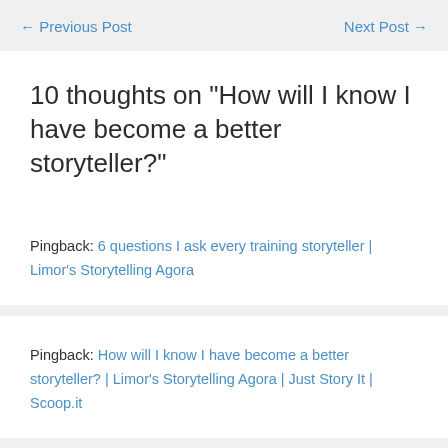← Previous Post    Next Post →
10 thoughts on “How will I know I have become a better storyteller?”
Pingback: 6 questions I ask every training storyteller | Limor’s Storytelling Agora
Pingback: How will I know I have become a better storyteller? | Limor’s Storytelling Agora | Just Story It | Scoop.it